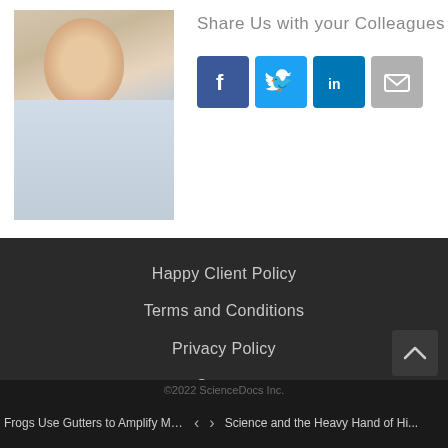[Figure (photo): Woman smiling, office background, light blue top]
Share Us with your Colleagues
[Figure (infographic): Social sharing icons: Facebook, Twitter, LinkedIn, Email]
Happy Client Policy
Terms and Conditions
Privacy Policy
Contact
©2022 ScienceDocs Inc.
Frogs Use Gutters to Amplify Mat... | < > | Science and the Heavy Hand of Hi...